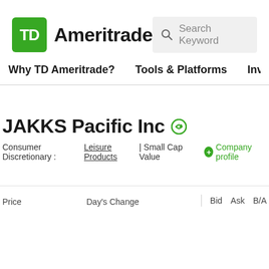[Figure (logo): TD Ameritrade logo with green TD square icon and bold Ameritrade text]
Search Keyword
Why TD Ameritrade? | Tools & Platforms | Inve...
JAKKS Pacific Inc
Consumer Discretionary : Leisure Products | Small Cap Value  + Company profile
Price  Day's Change  Bid  Ask  B/A